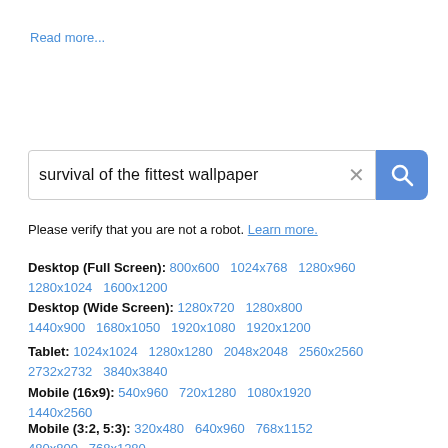Read more...
[Figure (screenshot): Search bar with text 'survival of the fittest wallpaper', an X clear button, and a blue search button with magnifying glass icon]
Please verify that you are not a robot. Learn more.
Desktop (Full Screen): 800x600 1024x768 1280x960 1280x1024 1600x1200
Desktop (Wide Screen): 1280x720 1280x800 1440x900 1680x1050 1920x1080 1920x1200
Tablet: 1024x1024 1280x1280 2048x2048 2560x2560 2732x2732 3840x3840
Mobile (16x9): 540x960 720x1280 1080x1920 1440x2560
Mobile (3:2, 5:3): 320x480 640x960 768x1152 480x800 768x1280